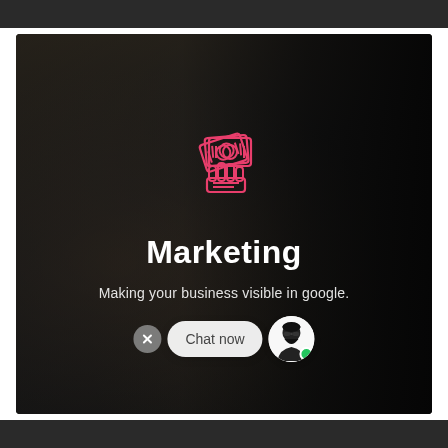[Figure (screenshot): Marketing service card with dark overlay on a photo of people working at a desk. Features a pink/red hand-holding-money icon, the title 'Marketing', subtitle text, and a chat widget at the bottom.]